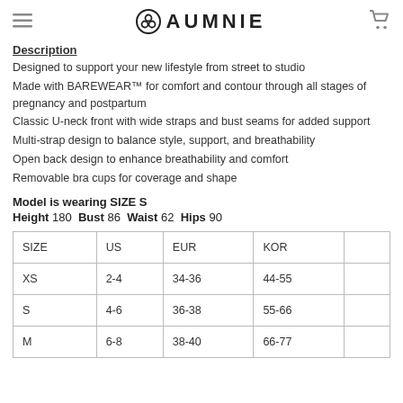AUMNIE
Description
Designed to support your new lifestyle from street to studio
Made with BAREWEAR™ for comfort and contour through all stages of pregnancy and postpartum
Classic U-neck front with wide straps and bust seams for added support
Multi-strap design to balance style, support, and breathability
Open back design to enhance breathability and comfort
Removable bra cups for coverage and shape
Model is wearing SIZE S
Height 180  Bust 86  Waist 62  Hips 90
| SIZE | US | EUR | KOR |  |
| --- | --- | --- | --- | --- |
| XS | 2-4 | 34-36 | 44-55 |  |
| S | 4-6 | 36-38 | 55-66 |  |
| M | 6-8 | 38-40 | 66-77 |  |